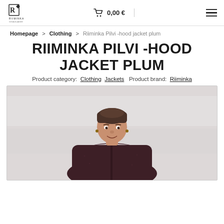Riiminka logo | Cart 0,00 € | Menu
Homepage > Clothing > Riiminka Pilvi -hood jacket plum
RIIMINKA PILVI -HOOD JACKET PLUM
Product category: Clothing Jackets  Product brand: Riiminka
[Figure (photo): Woman wearing a plum/dark maroon hooded zip jacket, short hair, smiling, photographed against a light grey background]